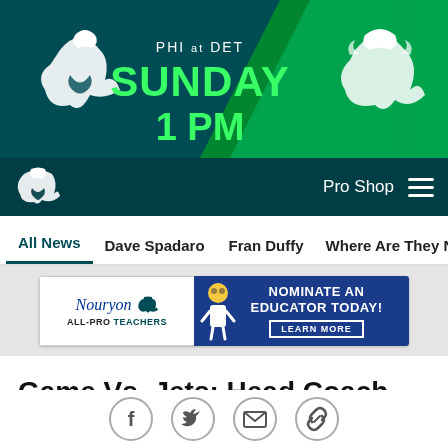[Figure (screenshot): Philadelphia Eagles vs Detroit Lions game banner: PHI at DET, SUNDAY 1 PM with Eagles and Lions logos on dark teal/green background]
Pro Shop
All News  Dave Spadaro  Fran Duffy  Where Are They Now?  Pu
[Figure (illustration): Nouryon All-Pro Teachers advertisement: Nominate an Educator Today! Learn More]
Game Vs. Jets: Head Coach Doug Pederson
Sep 01, 2016 at 02:39 PM
PhiladelphiaEagles.com
[Figure (infographic): Social sharing icons: Facebook, Twitter, Email, Link]